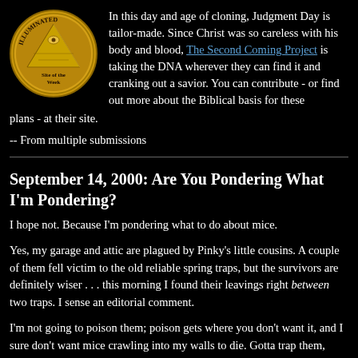[Figure (logo): Gold circular coin/medal logo with pyramid and eye, text reading ILLUMINATED around the top arc and 'Site of the Week' at the bottom]
In this day and age of cloning, Judgment Day is tailor-made. Since Christ was so careless with his body and blood, The Second Coming Project is taking the DNA wherever they can find it and cranking out a savior. You can contribute - or find out more about the Biblical basis for these plans - at their site.
-- From multiple submissions
September 14, 2000: Are You Pondering What I'm Pondering?
I hope not. Because I'm pondering what to do about mice.
Yes, my garage and attic are plagued by Pinky's little cousins. A couple of them fell victim to the old reliable spring traps, but the survivors are definitely wiser . . . this morning I found their leavings right between two traps. I sense an editorial comment.
I'm not going to poison them; poison gets where you don't want it, and I sure don't want mice crawling into my walls to die. Gotta trap them, chase them away, or recruit them into the MIRs.